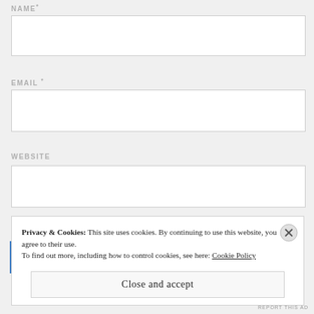NAME *
EMAIL *
WEBSITE
Privacy & Cookies: This site uses cookies. By continuing to use this website, you agree to their use. To find out more, including how to control cookies, see here: Cookie Policy
Close and accept
REPORT THIS AD